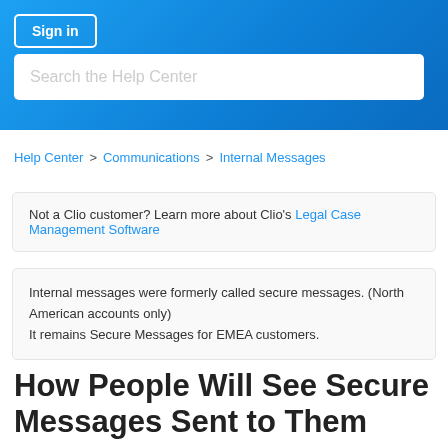Sign in
Search the Help Center
Help Center > Communications > Internal Messages
Not a Clio customer? Learn more about Clio's Legal Case Management Software
Internal messages were formerly called secure messages. (North American accounts only)
It remains Secure Messages for EMEA customers.
How People Will See Secure Messages Sent to Them